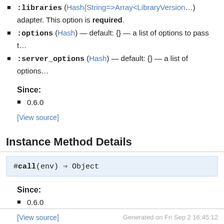:libraries (Hash{String=>Array<LibraryVersion…}) — adapter. This option is required.
:options (Hash) — default: {} — a list of options to pass t…
:server_options (Hash) — default: {} — a list of options…
Since:
0.6.0
[View source]
Instance Method Details
#call(env) ⇒ Object
Since:
0.6.0
[View source]
Generated on Fri Sep 2 16:45:12